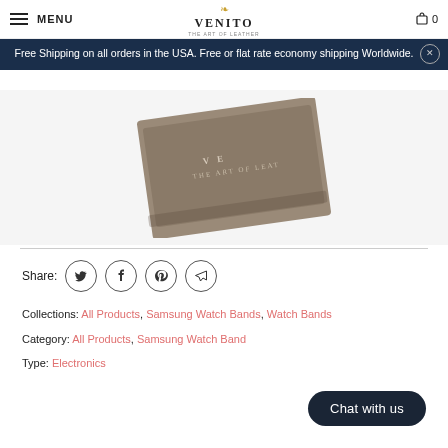MENU  VENITO  THE ART OF LEATHER  🛒 0
Free Shipping on all orders in the USA. Free or flat rate economy shipping Worldwide.
[Figure (photo): Partial product image showing a leather item with VENITO THE ART OF LEATHER embossed text, displayed on a light background]
Share:
Collections: All Products, Samsung Watch Bands, Watch Bands
Category: All Products, Samsung Watch Band
Type: Electronics
Chat with us